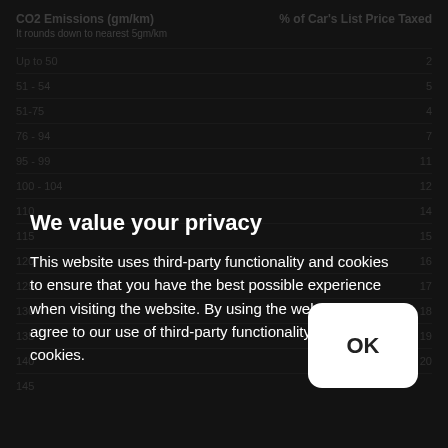| CO2 Emissions (gm/km)
It rounds down to nearest 5gm/km | % of Car's List Price Taxed |
| --- | --- |
| Up to 50 | 2 |
| 51-75 | 4 |
| 76-94 | 7 |
| 95-99 | 11 |
| 100-104 | 12 |
| 105-109 | 13 |
| 110 | 14 |
| 115 | 15 |
| 120 | 16 |
| 125 | 17 |
| 130 | 18 |
| 135 | 19 |
We value your privacy
This website uses third-party functionality and cookies to ensure that you have the best possible experience when visiting the website. By using the website you agree to our use of third-party functionality and cookies.
OK